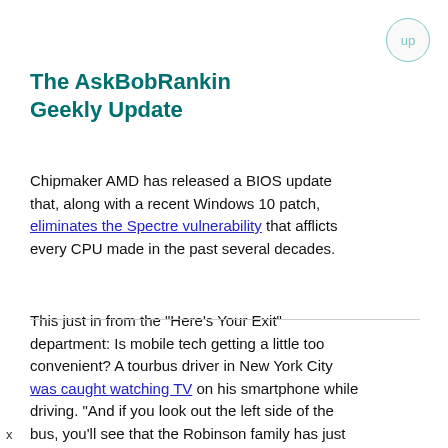The AskBobRankin Geekly Update
Chipmaker AMD has released a BIOS update that, along with a recent Windows 10 patch, eliminates the Spectre vulnerability that afflicts every CPU made in the past several decades.
This just in from the "Here's Your Exit" department: Is mobile tech getting a little too convenient? A tourbus driver in New York City was caught watching TV on his smartphone while driving. "And if you look out the left side of the bus, you'll see that the Robinson family has just crash-landed on an alien planet…" The driver was fired.